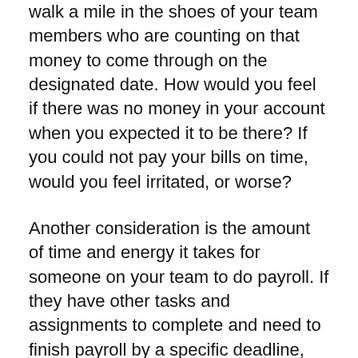walk a mile in the shoes of your team members who are counting on that money to come through on the designated date. How would you feel if there was no money in your account when you expected it to be there? If you could not pay your bills on time, would you feel irritated, or worse?
Another consideration is the amount of time and energy it takes for someone on your team to do payroll. If they have other tasks and assignments to complete and need to finish payroll by a specific deadline, they may not get all of their work completed on time. As the CTO of PayTickr, I cannot be spending my days inputting time sheets or calculating overtime, as I need to focus on building our system.
By using an online payroll provider, I can put the process on virtual autopilot and have it completed for me in a timely fashion. This frees me (or you) up to work on more high-